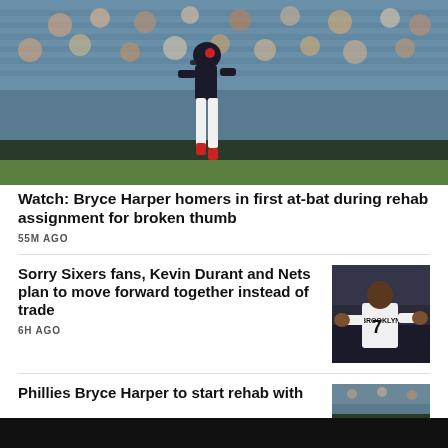[Figure (photo): Baseball player mid-stride on field, wearing white uniform with red accents, crowd in background in stadium seating]
Watch: Bryce Harper homers in first at-bat during rehab assignment for broken thumb
55M AGO
Sorry Sixers fans, Kevin Durant and Nets plan to move forward together instead of trade
6H AGO
[Figure (photo): Kevin Durant in Brooklyn Nets jersey number 7, clapping on court]
Phillies Bryce Harper to start rehab with
[Figure (photo): Partial sports photo, stadium background]